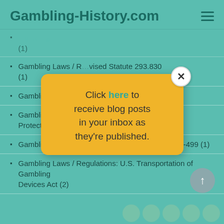Gambling-History.com
(1)
Gambling Laws / R…vised Statute 293.830 (1)
Gambling Laws / R…of 9 Anne (1)
Gambling Laws / R…l and Amateur Sports Protection Act (1)
Gambling Laws / Regulations: U.S. Public Law 93-499 (1)
Gambling Laws / Regulations: U.S. Transportation of Gambling Devices Act (2)
[Figure (infographic): Yellow popup dialog box with close button (X) and text: Click here to receive blog posts in your inbox as they're published.]